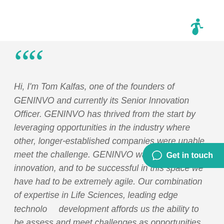[Figure (illustration): Accessibility wheelchair icon in teal color, top right corner]
““
Hi, I’m Tom Kalfas, one of the founders of GENINVO and currently its Senior Innovation Officer. GENINVO has thrived from the start by leveraging opportunities in the industry where other, longer-established companies were unable meet the challenge. GENINVO was born of innovation, and to be successful in this space we have had to be extremely agile. Our combination of expertise in Life Sciences, leading edge technology development affords us the ability to be assess and meet challenges as opportunities for innovation, to blaze new trails, and to help revolutionize the industry to speed the development of new products
Get in touch